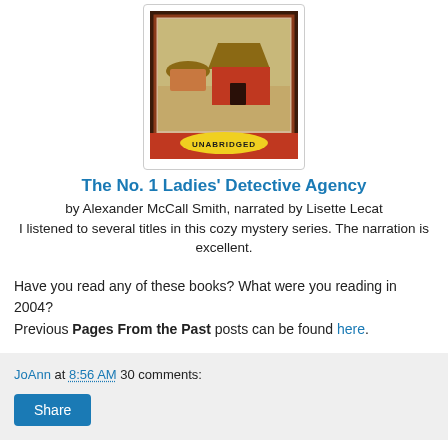[Figure (photo): Book cover of 'The No. 1 Ladies' Detective Agency' audiobook, showing an African village scene with thatched huts, marked 'UNABRIDGED' on a yellow oval badge, with a dark decorative border.]
The No. 1 Ladies' Detective Agency
by Alexander McCall Smith, narrated by Lisette Lecat
I listened to several titles in this cozy mystery series. The narration is excellent.
Have you read any of these books? What were you reading in 2004?
Previous Pages From the Past posts can be found here.
JoAnn at 8:56 AM    30 comments: